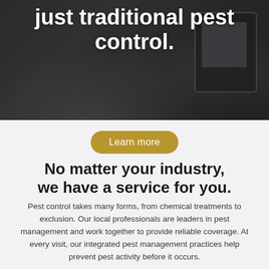[Figure (photo): Dark background photo of a person in a white shirt and dark tie holding a tablet device, partially visible from chest down.]
just traditional pest control.
Learn more
No matter your industry, we have a service for you.
Pest control takes many forms, from chemical treatments to exclusion. Our local professionals are leaders in pest management and work together to provide reliable coverage. At every visit, our integrated pest management practices help prevent pest activity before it occurs.